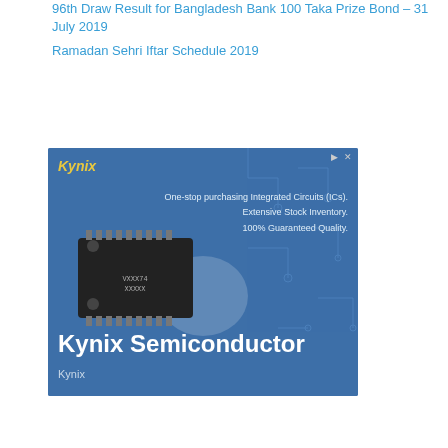96th Draw Result for Bangladesh Bank 100 Taka Prize Bond – 31 July 2019
Ramadan Sehri Iftar Schedule 2019
[Figure (other): Kynix Semiconductor advertisement banner with blue background, circuit board imagery, IC chip photo, and text: One-stop purchasing Integrated Circuits (ICs). Extensive Stock Inventory. 100% Guaranteed Quality. Kynix Semiconductor. Kynix.]